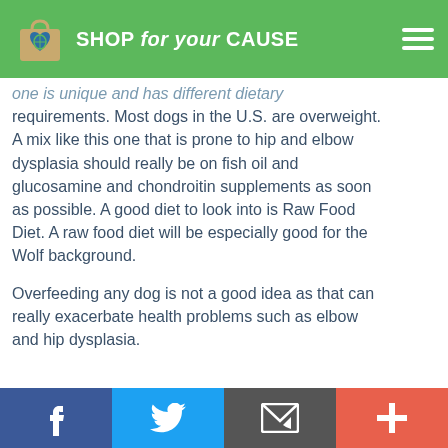SHOP for your CAUSE
one is unique and has different dietary requirements. Most dogs in the U.S. are overweight. A mix like this one that is prone to hip and elbow dysplasia should really be on fish oil and glucosamine and chondroitin supplements as soon as possible. A good diet to look into is Raw Food Diet. A raw food diet will be especially good for the Wolf background.
Overfeeding any dog is not a good idea as that can really exacerbate health problems such as elbow and hip dysplasia.
Facebook | Twitter | Email | Plus